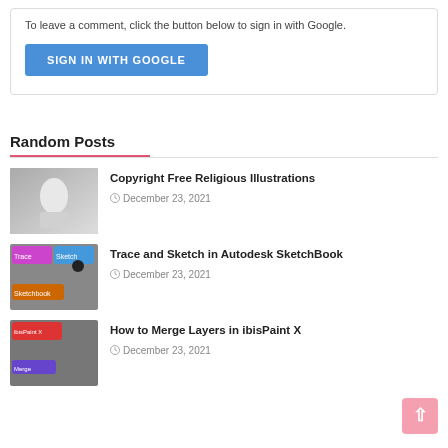To leave a comment, click the button below to sign in with Google.
[Figure (other): Blue 'SIGN IN WITH GOOGLE' button]
Random Posts
Copyright Free Religious Illustrations
December 23, 2021
Trace and Sketch in Autodesk SketchBook
December 23, 2021
How to Merge Layers in ibisPaint X
December 23, 2021